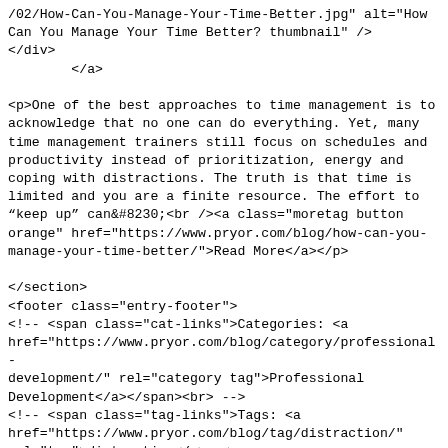/02/How-Can-You-Manage-Your-Time-Better.jpg" alt="How Can You Manage Your Time Better? thumbnail" />
</div>
        </a>

<p>One of the best approaches to time management is to acknowledge that no one can do everything. Yet, many time management trainers still focus on schedules and productivity instead of prioritization, energy and coping with distractions. The truth is that time is limited and you are a finite resource. The effort to “keep up” can&#8230;<br /><a class="moretag button orange" href="https://www.pryor.com/blog/how-can-you-manage-your-time-better/">Read More</a></p>

</section>
<footer class="entry-footer">
<!-- <span class="cat-links">Categories: <a href="https://www.pryor.com/blog/category/professional-development/" rel="category tag">Professional Development</a></span><br> -->
<!-- <span class="tag-links">Tags: <a href="https://www.pryor.com/blog/tag/distraction/" rel="tag">distraction</a>, <a href="https://www.pryor.com/blog/tag/focus/" rel="tag">focus</a>, <a href="https://www.pryor.com/blog/tag/time-management/" rel="tag">Time Management</a>, <a href="https://www.pryor.com/blog/tag/time-management-skills/" rel="tag">time management skills</a></span> -->